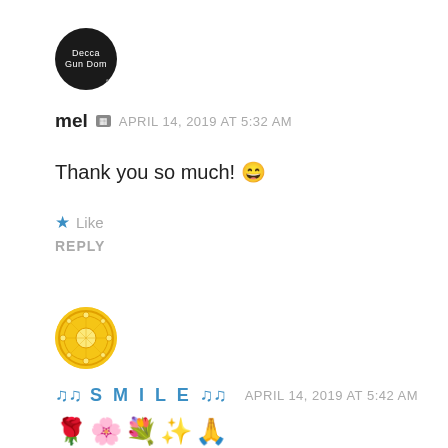[Figure (photo): Dark circular avatar with small white text]
mel  APRIL 14, 2019 AT 5:32 AM
Thank you so much! 😄
★ Like
REPLY
[Figure (illustration): Yellow/gold circular avatar with decorative pattern]
🎵 S M I L E 🎵  APRIL 14, 2019 AT 5:42 AM
🌹🌸💐✨🙏